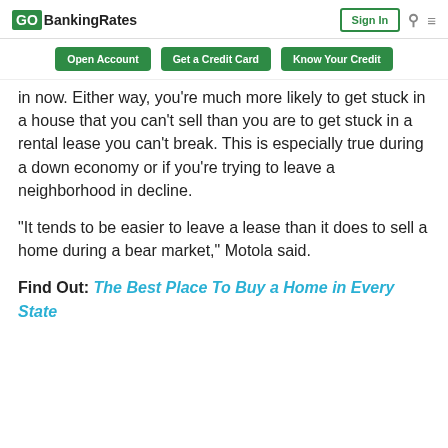GOBankingRates | Sign In
Open Account | Get a Credit Card | Know Your Credit
in now. Either way, you're much more likely to get stuck in a house that you can't sell than you are to get stuck in a rental lease you can't break. This is especially true during a down economy or if you're trying to leave a neighborhood in decline.
“It tends to be easier to leave a lease than it does to sell a home during a bear market,” Motola said.
Find Out: The Best Place To Buy a Home in Every State